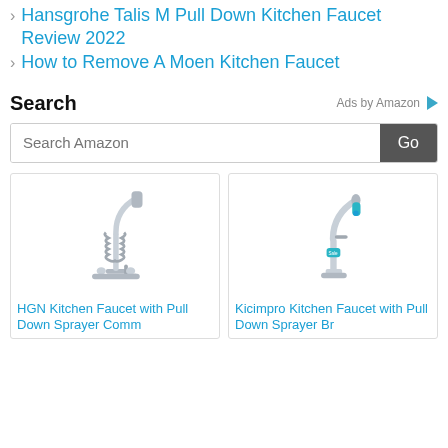Hansgrohe Talis M Pull Down Kitchen Faucet Review 2022
How to Remove A Moen Kitchen Faucet
Search
Ads by Amazon
Search Amazon
[Figure (photo): HGN Kitchen Faucet with Pull Down Sprayer product image]
HGN Kitchen Faucet with Pull Down Sprayer Comm
[Figure (photo): Kicimpro Kitchen Faucet with Pull Down Sprayer product image]
Kicimpro Kitchen Faucet with Pull Down Sprayer Br